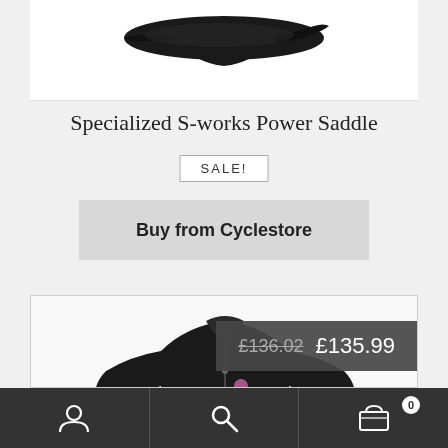[Figure (photo): Bicycle saddle product image, black saddle viewed from above/side angle, on white background]
Specialized S-works Power Saddle
SALE!
Buy from Cyclestore
[Figure (photo): Black cycling jacket product image with small pink logo on chest, zipper front, dark background with price overlay showing £136.02 (crossed out) and £135.99]
Navigation bar with user icon, search icon, and cart icon showing 0 items